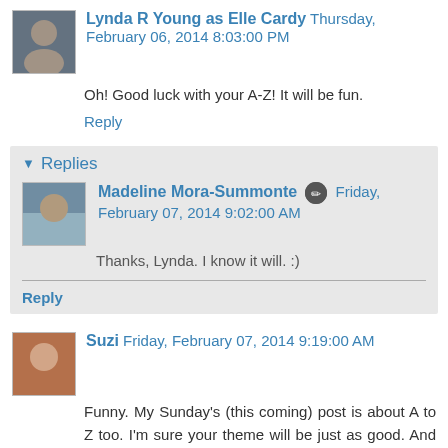Lynda R Young as Elle Cardy Thursday, February 06, 2014 8:03:00 PM
Oh! Good luck with your A-Z! It will be fun.
Reply
Replies
Madeline Mora-Summonte Friday, February 07, 2014 9:02:00 AM
Thanks, Lynda. I know it will. :)
Reply
Suzi Friday, February 07, 2014 9:19:00 AM
Funny. My Sunday's (this coming) post is about A to Z too. I'm sure your theme will be just as good. And have fun minioning. (Can I turn that into a verb?)
Reply